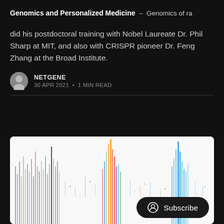Genomics and Personalized Medicine – Genomics of ra
did his postdoctoral training with Nobel Laureate Dr. Phil Sharp at MIT, and also with CRISPR pioneer Dr. Feng Zhang at the Broad Institute.
NETGENE
30 APR 2021 • 1 MIN READ
[Figure (photo): Colorful genomics visualization resembling a Manhattan plot or spectral genomic data display with multicolored vertical streaks on a white background.]
Subscribe